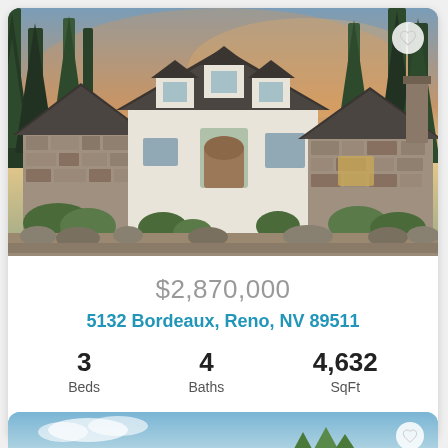[Figure (photo): Exterior photo of a large stone and stucco luxury home at dusk, surrounded by pine trees, with warm interior lighting illuminating the windows. The home features multiple peaked rooflines with dark shingles and stone facade accents.]
$2,870,000
5132 Bordeaux, Reno, NV 89511
3 Beds  4 Baths  4,632 SqFt
Listing Provided By Dickson Realty · Montreux  Broker Reciprocity
[Figure (photo): Partial view of a second property listing photo showing a blue sky with clouds and some trees.]